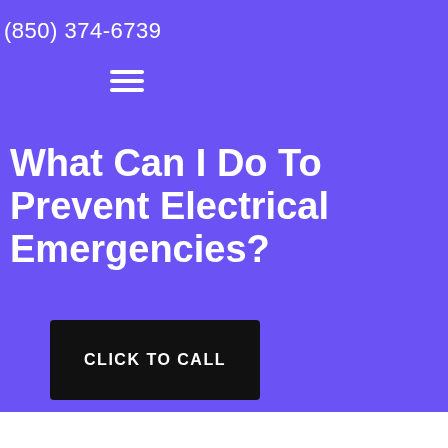(850) 374-6739
[Figure (other): Hamburger menu icon (three horizontal lines)]
What Can I Do To Prevent Electrical Emergencies?
CLICK TO CALL